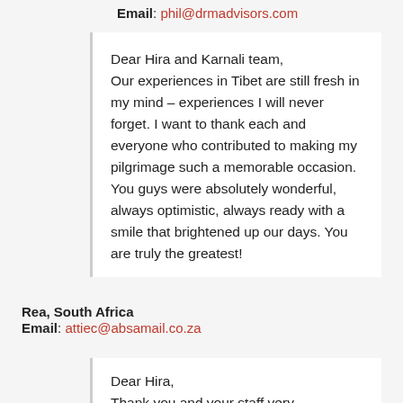Email: phil@drmadvisors.com
Dear Hira and Karnali team,
Our experiences in Tibet are still fresh in my mind – experiences I will never forget. I want to thank each and everyone who contributed to making my pilgrimage such a memorable occasion. You guys were absolutely wonderful, always optimistic, always ready with a smile that brightened up our days. You are truly the greatest!
Rea, South Africa
Email: attiec@absamail.co.za
Dear Hira,
Thank you and your staff very